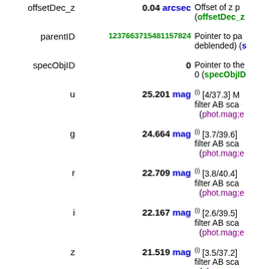| Name | Value | Description |
| --- | --- | --- |
| offsetDec_z | 0.04 arcsec | Offset of z p... (offsetDec_z... |
| parentID | 1237663715481157824 | Pointer to pa... deblended) (... |
| specObjID | 0 | Pointer to the... 0 (specObjID... |
| u | 25.201 mag | (i) [4/37.3] M... filter AB sca... (phot.mag;e... |
| g | 24.664 mag | (i) [3.7/39.6]... filter AB sca... (phot.mag;e... |
| r | 22.709 mag | (i) [3.8/40.4]... filter AB sca... (phot.mag;e... |
| i | 22.167 mag | (i) [2.6/39.5]... filter AB sca... (phot.mag;e... |
| z | 21.519 mag | (i) [3.5/37.2]... filter AB sca... (phot.mag;e... |